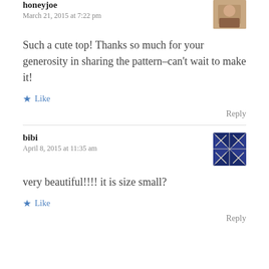honeyjoe
March 21, 2015 at 7:22 pm
Such a cute top! Thanks so much for your generosity in sharing the pattern–can't wait to make it!
Like
Reply
bibi
April 8, 2015 at 11:35 am
very beautiful!!!! it is size small?
Like
Reply